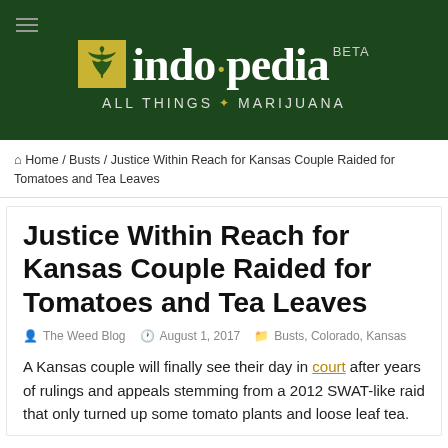[Figure (logo): Indopedia logo — green background banner with cannabis leaf icon in yellow square, 'indo·pedia' in white serif font, 'BETA' label, tagline 'ALL THINGS MARIJUANA']
Home / Busts / Justice Within Reach for Kansas Couple Raided for Tomatoes and Tea Leaves
Justice Within Reach for Kansas Couple Raided for Tomatoes and Tea Leaves
The Weed Blog   August 1, 2017   Busts, Colorado, Kansas
A Kansas couple will finally see their day in court after years of rulings and appeals stemming from a 2012 SWAT-like raid that only turned up some tomato plants and loose leaf tea.